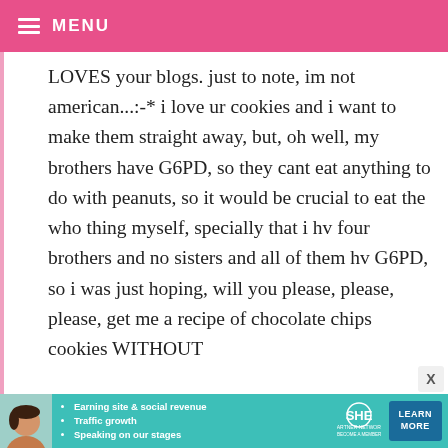MENU
LOVES your blogs. just to note, im not american...:-* i love ur cookies and i want to make them straight away, but, oh well, my brothers have G6PD, so they cant eat anything to do with peanuts, so it would be crucial to eat the who thing myself, specially that i hv four brothers and no sisters and all of them hv G6PD, so i was just hoping, will you please, please, please, get me a recipe of chocolate chips cookies WITHOUT
[Figure (infographic): SHE Partner Network advertisement banner with photo of woman, bullet points about earning site & social revenue, traffic growth, speaking on stages, SHE logo, and LEARN MORE button]